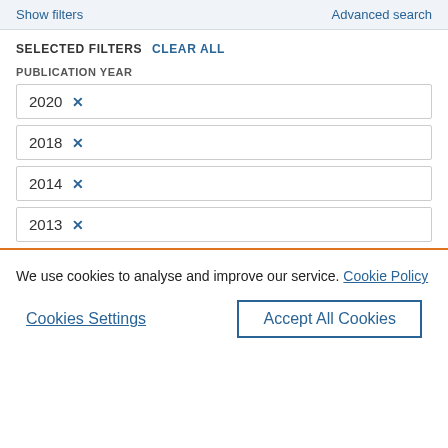Show filters    Advanced search
SELECTED FILTERS  CLEAR ALL
PUBLICATION YEAR
2020 ×
2018 ×
2014 ×
2013 ×
We use cookies to analyse and improve our service. Cookie Policy
Cookies Settings    Accept All Cookies